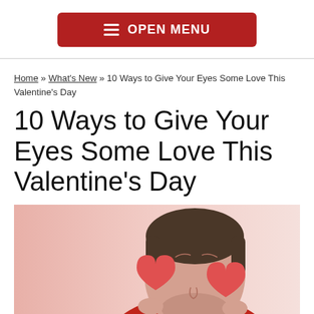OPEN MENU
Home » What's New » 10 Ways to Give Your Eyes Some Love This Valentine's Day
10 Ways to Give Your Eyes Some Love This Valentine's Day
[Figure (photo): A man holding two red paper hearts in front of his eyes against a light pink background, wearing a red shirt.]